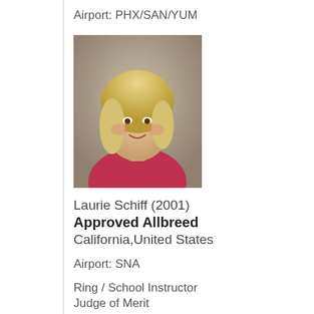Airport: PHX/SAN/YUM
[Figure (photo): Portrait photo of a woman with blonde hair wearing a red top, photographed against a neutral background.]
Laurie Schiff (2001)
Approved Allbreed
California,United States
Airport: SNA
Ring / School Instructor
Judge of Merit
[Figure (photo): Partial photo at bottom, mostly dark, another person's portrait beginning to appear.]